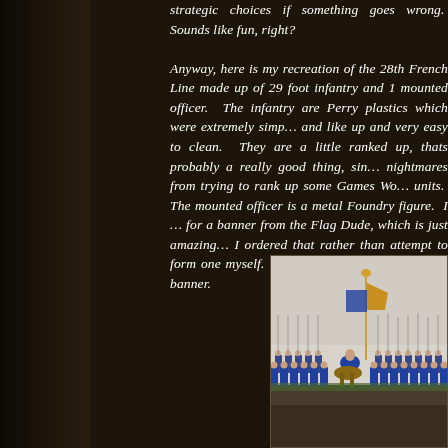strategic choices if something goes wrong.  Sounds like fun, right?

Anyway, here is my recreation of the 28th French Line made up of 29 foot infantry and 1 mounted officer.  The infantry are Perry plastics which were extremely simple to put and like up and very easy to clean.  They are a little ranked up, thats probably a really good thing, since I have nightmares from trying to rank up some Games Workshop units.  The mounted officer is a metal Foundry figure.  I opted for a banner from the Flag Dude, which is just amazing detail.  I ordered that rather than attempt to form one myself.  It saved hours of cursing at a banner.
[Figure (photo): Photograph of painted Napoleonic French Line Infantry miniatures, rows of soldiers with muskets/bayonets, a mounted officer with a colorful banner/eagle standard visible above the ranks, on a modeled base with grass.]